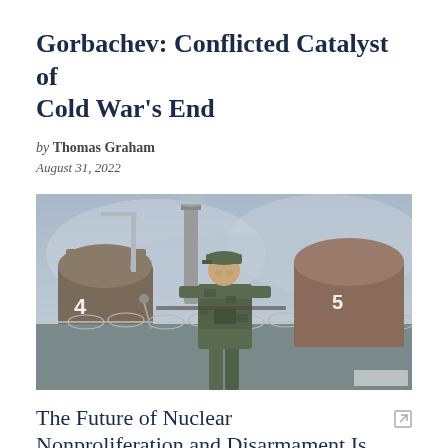Gorbachev: Conflicted Catalyst of Cold War's End
by Thomas Graham
August 31, 2022
[Figure (photo): A soldier in camouflage uniform and cap stands in front of nuclear power plant cooling domes (labeled 4 and 5) behind a barbed wire fence, with hazy sky in the background.]
The Future of Nuclear Nonproliferation and Disarmament Is